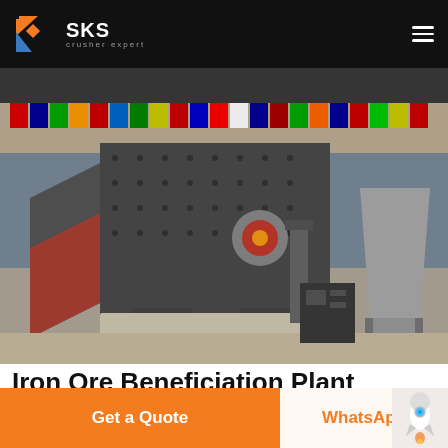SKS Crusher Expert
[Figure (photo): Industrial vibrating screen / beneficiation equipment displayed in an exhibition hall with international flags in the background. The machine is large, gray/dark metal construction with bolted panels, motors, and aggregate material visible beneath.]
Iron Ore Beneficiation Plant Manufacturers Suppliers iron ore